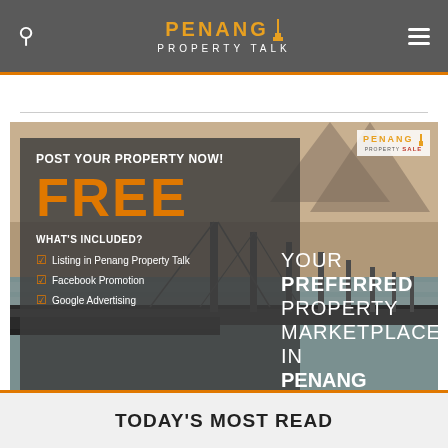Penang Property Talk
[Figure (infographic): Advertisement banner for Penang Property Sale. Background shows Penang bridge over water at dusk. Dark overlay box on left with text: POST YOUR PROPERTY NOW! FREE. WHAT'S INCLUDED? Listing in Penang Property Talk, Facebook Promotion, Google Advertising. Right side: YOUR PREFERRED PROPERTY MARKETPLACE IN PENANG. Small Penang PropertySALE logo top right.]
TODAY'S MOST READ